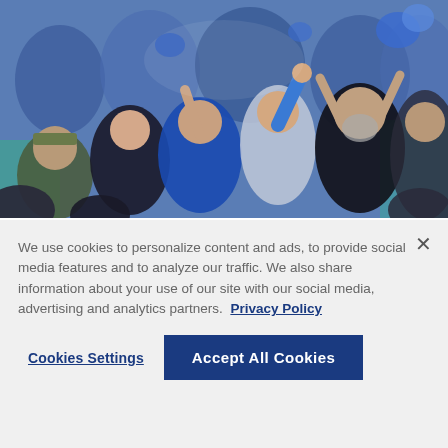[Figure (photo): Crowd of sports fans in blue attire cheering enthusiastically at a Final Four basketball event inside a dome arena. Fans are raising hands, cheering, some wearing blue Kansas or Kentucky gear.]
Final Four fans flock to dome in return of open practices
We use cookies to personalize content and ads, to provide social media features and to analyze our traffic. We also share information about your use of our site with our social media, advertising and analytics partners. Privacy Policy
Cookies Settings
Accept All Cookies